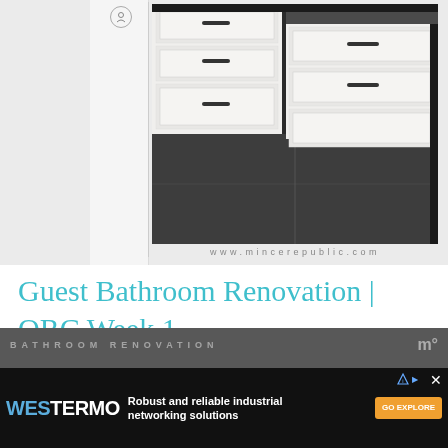[Figure (photo): Bathroom renovation photo showing white shaker-style cabinets/drawers with black bar handles on a dark charcoal floor, with website watermark www.mincerepublic.com at the bottom of the image area]
Guest Bathroom Renovation | ORC Week 1
[Figure (photo): Partially visible lower photo strip at the bottom of the page, partially obscured by advertisement overlay]
[Figure (screenshot): Westermo advertisement banner: dark background with Westermo logo in blue/white, text 'Robust and reliable industrial networking solutions', orange GO EXPLORE button, AdChoices icon, and close X button]